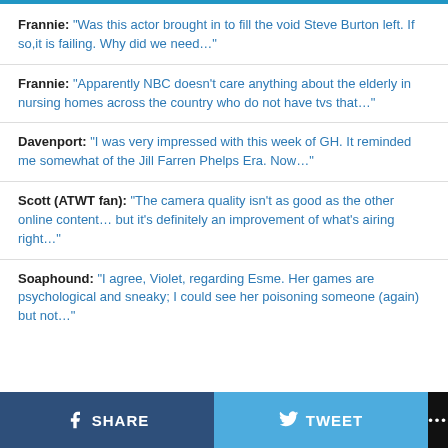Frannie: "Was this actor brought in to fill the void Steve Burton left. If so,it is failing. Why did we need..."
Frannie: "Apparently NBC doesn't care anything about the elderly in nursing homes across the country who do not have tvs that..."
Davenport: "I was very impressed with this week of GH. It reminded me somewhat of the Jill Farren Phelps Era. Now..."
Scott (ATWT fan): "The camera quality isn't as good as the other online content… but it's definitely an improvement of what's airing right..."
Soaphound: "I agree, Violet, regarding Esme. Her games are psychological and sneaky; I could see her poisoning someone (again) but not..."
SHARE   TWEET   ...